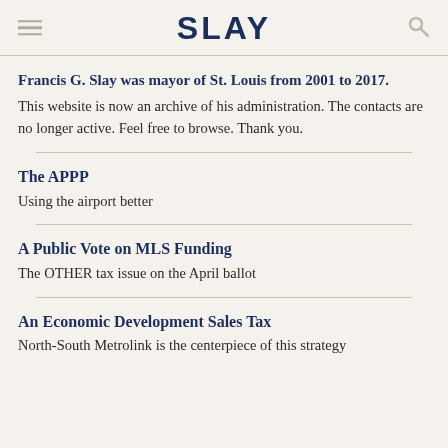SLAY
Francis G. Slay was mayor of St. Louis from 2001 to 2017. This website is now an archive of his administration. The contacts are no longer active. Feel free to browse. Thank you.
The APPP
Using the airport better
A Public Vote on MLS Funding
The OTHER tax issue on the April ballot
An Economic Development Sales Tax
North-South Metrolink is the centerpiece of this strategy